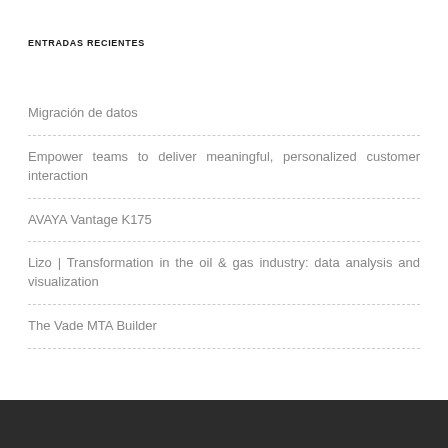ENTRADAS RECIENTES
Migración de datos
Empower teams to deliver meaningful, personalized customer interaction
AVAYA Vantage K175
Lizo | Transformation in the oil & gas industry: data analysis and visualization
The Vade MTA Builder